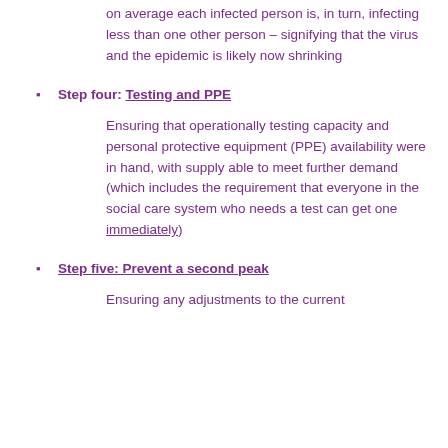on average each infected person is, in turn, infecting less than one other person – signifying that the virus and the epidemic is likely now shrinking
Step four: Testing and PPE
Ensuring that operationally testing capacity and personal protective equipment (PPE) availability were in hand, with supply able to meet further demand (which includes the requirement that everyone in the social care system who needs a test can get one immediately)
Step five: Prevent a second peak
Ensuring any adjustments to the current